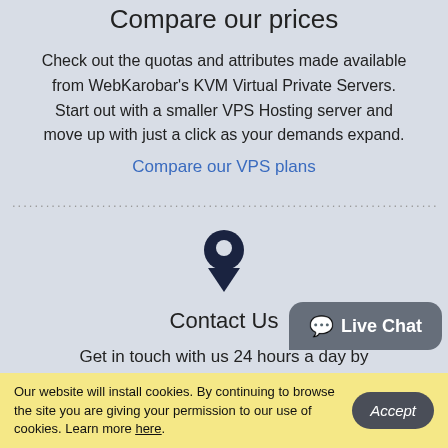Compare our prices
Check out the quotas and attributes made available from WebKarobar's KVM Virtual Private Servers. Start out with a smaller VPS Hosting server and move up with just a click as your demands expand.
Compare our VPS plans
[Figure (other): Dotted horizontal divider line]
[Figure (other): Location pin / map marker icon in dark navy color]
Contact Us
Get in touch with us 24 hours a day by
[Figure (other): Live Chat speech bubble button in grey]
Our website will install cookies. By continuing to browse the site you are giving your permission to our use of cookies. Learn more here.